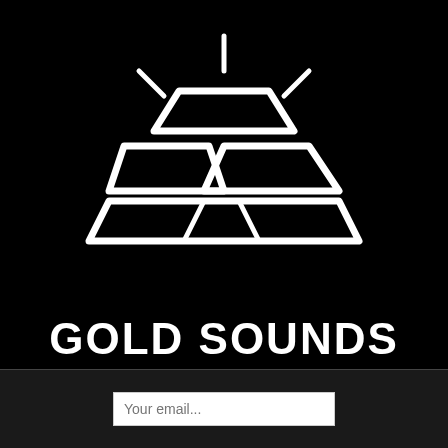[Figure (logo): Gold Sounds logo: white outline icon of stacked gold bars with shine rays above, on black background]
GOLD SOUNDS
Your email...